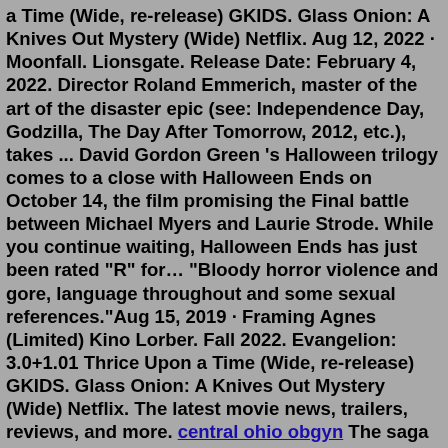a Time (Wide, re-release) GKIDS. Glass Onion: A Knives Out Mystery (Wide) Netflix. Aug 12, 2022 · Moonfall. Lionsgate. Release Date: February 4, 2022. Director Roland Emmerich, master of the art of the disaster epic (see: Independence Day, Godzilla, The Day After Tomorrow, 2012, etc.), takes ... David Gordon Green 's Halloween trilogy comes to a close with Halloween Ends on October 14, the film promising the Final battle between Michael Myers and Laurie Strode. While you continue waiting, Halloween Ends has just been rated "R" for… "Bloody horror violence and gore, language throughout and some sexual references."Aug 15, 2019 · Framing Agnes (Limited) Kino Lorber. Fall 2022. Evangelion: 3.0+1.01 Thrice Upon a Time (Wide, re-release) GKIDS. Glass Onion: A Knives Out Mystery (Wide) Netflix. The latest movie news, trailers, reviews, and more. central ohio obgyn The saga of Michael Myers and Laurie Strode comes to a spine-chilling climax in this final installment of the franchise. Jamie Lee Curtis and Andi Matichak